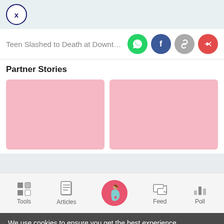[Figure (screenshot): Close button (X in circle) in top navigation bar]
Teen Slashed to Death at Downtown
[Figure (infographic): Share icons: WhatsApp (green), Facebook (dark blue), Link (gray), Share (red)]
Partner Stories
[Figure (illustration): Two pink placeholder content cards side by side]
[Figure (infographic): Bottom navigation bar with Tools, Articles, Home (pregnant woman icon), Feed, Poll]
We use cookies to ensure you get the best experience.
Learn More   Ok, Got it